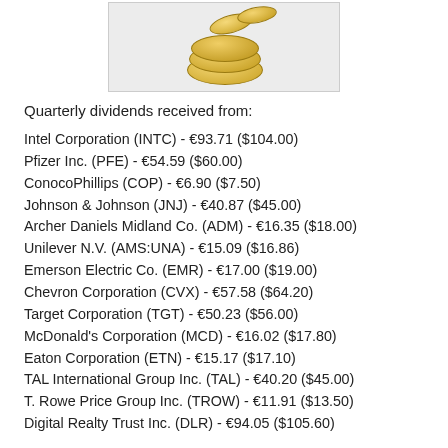[Figure (illustration): Gold coins image, stacked coins on a light gray background]
Quarterly dividends received from:
Intel Corporation (INTC) - €93.71 ($104.00)
Pfizer Inc. (PFE) - €54.59 ($60.00)
ConocoPhillips (COP) - €6.90 ($7.50)
Johnson & Johnson (JNJ) - €40.87 ($45.00)
Archer Daniels Midland Co. (ADM) - €16.35 ($18.00)
Unilever N.V. (AMS:UNA) - €15.09 ($16.86)
Emerson Electric Co. (EMR) - €17.00 ($19.00)
Chevron Corporation (CVX) - €57.58 ($64.20)
Target Corporation (TGT) - €50.23 ($56.00)
McDonald's Corporation (MCD) - €16.02 ($17.80)
Eaton Corporation (ETN) - €15.17 ($17.10)
TAL International Group Inc. (TAL) - €40.20 ($45.00)
T. Rowe Price Group Inc. (TROW) - €11.91 ($13.50)
Digital Realty Trust Inc. (DLR) - €94.05 ($105.60)